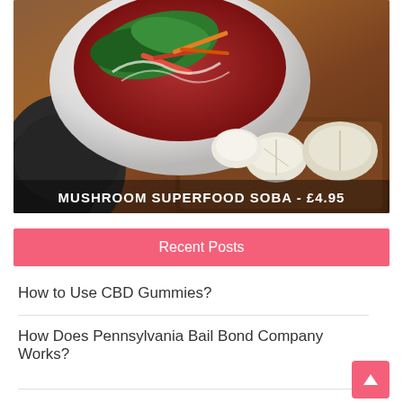[Figure (photo): Food photo of a bowl of Mushroom Superfood Soba with greens, peppers, and carrots, displayed on a wooden board with sliced mushrooms and a dark cloth. Caption reads: MUSHROOM SUPERFOOD SOBA - £4.95]
Recent Posts
How to Use CBD Gummies?
How Does Pennsylvania Bail Bond Company Works?